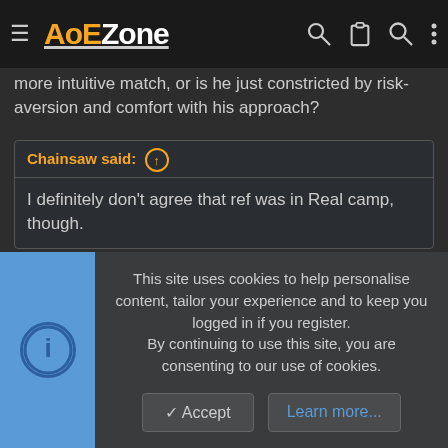AoEZone
more intuitive match, or is he just constricted by risk-aversion and comfort with his approach?
Chainsaw said: ↑
I definitely don't agree that ref was in Real camp, though.
Not in the camp truly but he felt like he was being swept up in the occasion at the end. The penalty is 50-50 imo but the stoppage time thing was pretty clearly in their favor.
SuperskinnyBLS said: ↑
This site uses cookies to help personalise content, tailor your experience and to keep you logged in if you register. By continuing to use this site, you are consenting to our use of cookies.
Accept | Learn more...